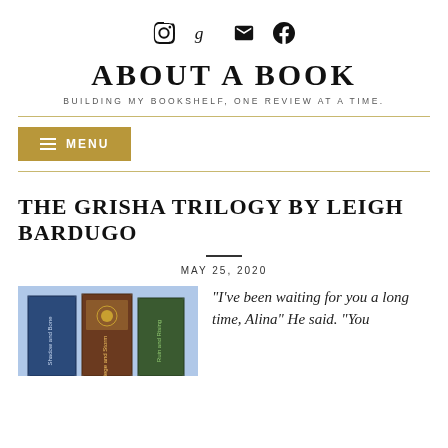[Figure (logo): Social media icons: Instagram, Goodreads (g), email envelope, Facebook]
ABOUT A BOOK
BUILDING MY BOOKSHELF, ONE REVIEW AT A TIME.
≡ MENU
THE GRISHA TRILOGY BY LEIGH BARDUGO
MAY 25, 2020
[Figure (photo): Stack of Grisha Trilogy book boxes/covers]
“I’ve been waiting for you a long time, Alina” He said. “You